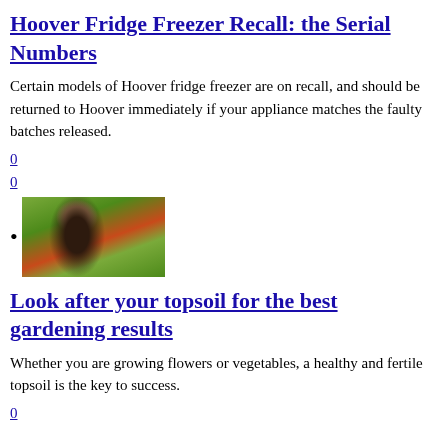Hoover Fridge Freezer Recall: the Serial Numbers
Certain models of Hoover fridge freezer are on recall, and should be returned to Hoover immediately if your appliance matches the faulty batches released.
0
0
[image: woman near flowers]
Look after your topsoil for the best gardening results
Whether you are growing flowers or vegetables, a healthy and fertile topsoil is the key to success.
0